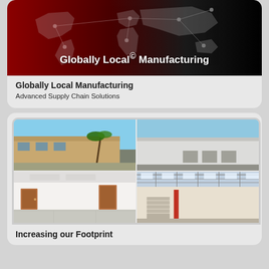[Figure (illustration): Red-to-black gradient background with world map silhouette and network connection lines. White bold text reads 'Globally Local© Manufacturing'.]
Globally Local Manufacturing
Advanced Supply Chain Solutions
[Figure (photo): Four-photo grid showing manufacturing/warehouse facilities: top-left exterior building with palm trees, top-right large warehouse exterior, bottom-left empty office interior, bottom-right warehouse interior with high ceilings.]
Increasing our Footprint